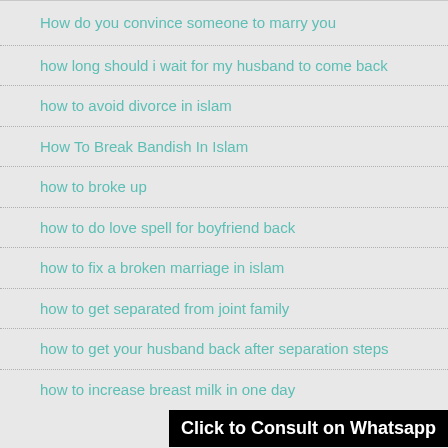How do you convince someone to marry you
how long should i wait for my husband to come back
how to avoid divorce in islam
How To Break Bandish In Islam
how to broke up
how to do love spell for boyfriend back
how to fix a broken marriage in islam
how to get separated from joint family
how to get your husband back after separation steps
how to increase breast milk in one day
Click to Consult on Whatsapp